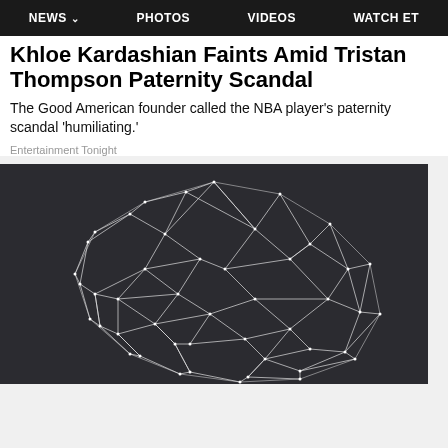NEWS  PHOTOS  VIDEOS  WATCH ET
Khloe Kardashian Faints Amid Tristan Thompson Paternity Scandal
The Good American founder called the NBA player's paternity scandal 'humiliating.'
Entertainment Tonight
[Figure (illustration): Abstract 3D wireframe mesh network shape resembling a brain or cloud, white lines and nodes on dark gray/black background.]